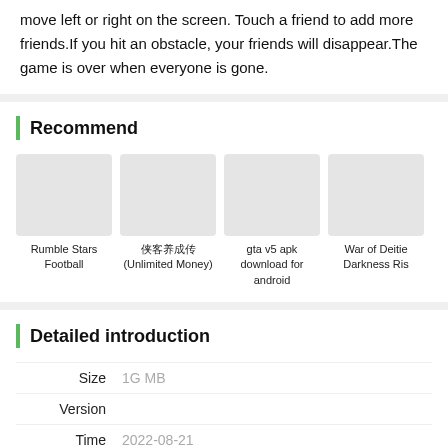move left or right on the screen. Touch a friend to add more friends.If you hit an obstacle, your friends will disappear.The game is over when everyone is gone.
Recommend
[Figure (illustration): Thumbnail image placeholder for Rumble Stars Football]
Rumble Stars Football
[Figure (illustration): Thumbnail image placeholder for 侠客养成传(Unlimited Money)]
侠客养成传(Unlimited Money)
[Figure (illustration): Thumbnail image placeholder for gta v5 apk download for android]
gta v5 apk download for android
[Figure (illustration): Thumbnail image placeholder for War of Deitie Darkness Ris]
War of Deitie Darkness Ris
Detailed introduction
Size   1G MB
Version
Time   2022-08-21